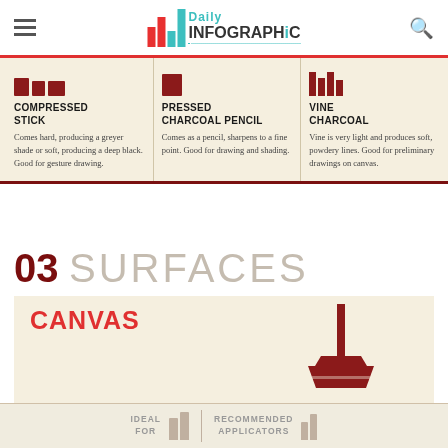[Figure (infographic): Daily Infographic website header with hamburger menu, logo, and search icon]
COMPRESSED STICK
Comes hard, producing a greyer shade or soft, producing a deep black. Good for gesture drawing.
PRESSED CHARCOAL PENCIL
Comes as a pencil, sharpens to a fine point. Good for drawing and shading.
VINE CHARCOAL
Vine is very light and produces soft, powdery lines. Good for preliminary drawings on canvas.
03 SURFACES
CANVAS
[Figure (illustration): Canvas easel pedestal icon]
IDEAL FOR
RECOMMENDED APPLICATORS